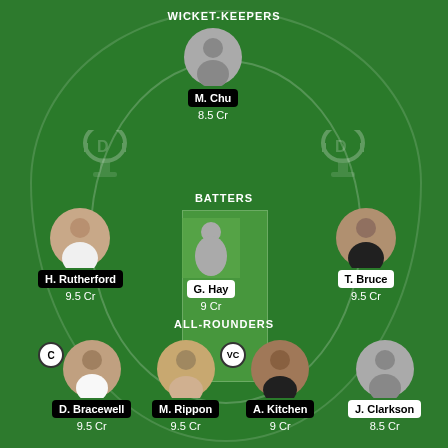WICKET-KEEPERS
[Figure (infographic): Fantasy cricket team lineup on a green cricket field showing 7 players arranged in positions. Wicket-keeper: M. Chu (8.5 Cr). Batters: H. Rutherford (9.5 Cr), G. Hay (9 Cr), T. Bruce (9.5 Cr). All-Rounders: D. Bracewell (9.5 Cr, Captain C), M. Rippon (9.5 Cr), A. Kitchen (9 Cr, Vice-Captain VC), J. Clarkson (8.5 Cr). Players shown with photos or silhouettes on a green pitch background with trophy icons.]
BATTERS
ALL-ROUNDERS